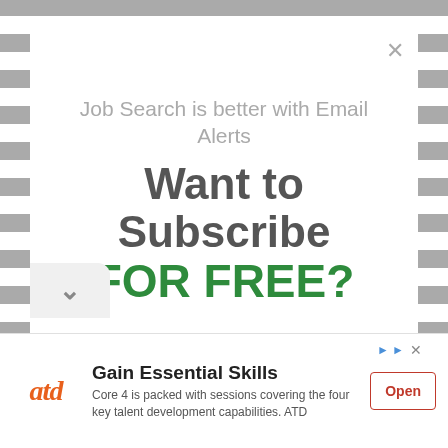[Figure (screenshot): Modal popup overlay on a checkered gray/white background. Contains a close X button, subtitle text, main heading, and two CTA buttons.]
Job Search is better with Email Alerts
Want to Subscribe
FOR FREE?
Yes!
Subscribe me
No, thanks
Gain Essential Skills
Core 4 is packed with sessions covering the four key talent development capabilities. ATD
Open